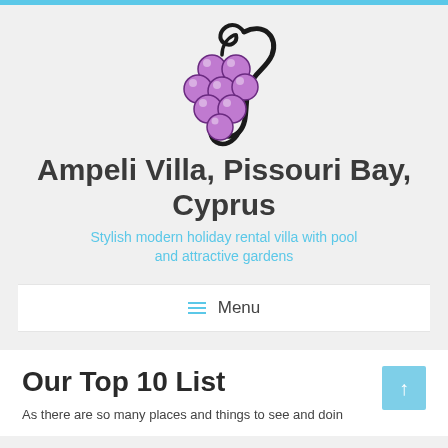[Figure (logo): Stylized grape cluster logo with purple grapes and black decorative vine/swirl]
Ampeli Villa, Pissouri Bay, Cyprus
Stylish modern holiday rental villa with pool and attractive gardens
≡  Menu
Our Top 10 List
As there are so many places and things to see and doin